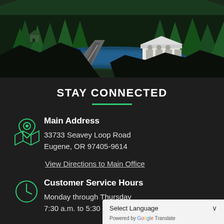[Figure (illustration): Illustrated landscape showing a winding road through a dense green forest, with a white covered bridge over a blue river/lake in the background, dark silhouetted tree line in the foreground against a dark sky.]
STAY CONNECTED
Main Address
33733 Seavey Loop Road
Eugene, OR 97405-9614
View Directions to Main Office
Customer Service Hours
Monday through Thursday
7:30 a.m. to 5:30 p.m.
Select Language
Powered by Google Translate